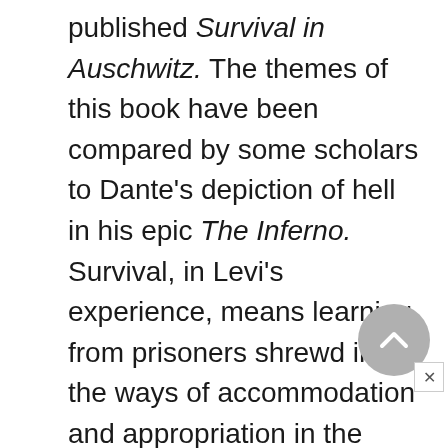published Survival in Auschwitz. The themes of this book have been compared by some scholars to Dante's depiction of hell in his epic The Inferno. Survival, in Levi's experience, means learning from prisoners shrewd in the ways of accommodation and appropriation in the prison camps. In Denby's view, Levi "becomes almost vivacious in describing these schemes, the complexity of which … can be startling. The inmates of Auschwitz …